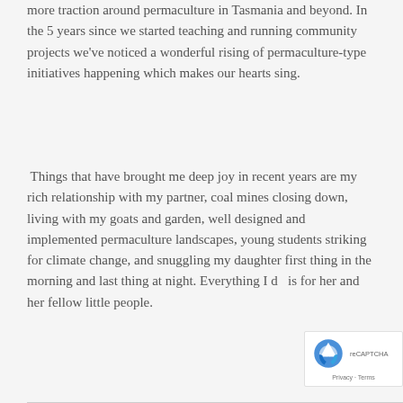more traction around permaculture in Tasmania and beyond. In the 5 years since we started teaching and running community projects we've noticed a wonderful rising of permaculture-type initiatives happening which makes our hearts sing.
Things that have brought me deep joy in recent years are my rich relationship with my partner, coal mines closing down, living with my goats and garden, well designed and implemented permaculture landscapes, young students striking for climate change, and snuggling my daughter first thing in the morning and last thing at night. Everything I do is for her and her fellow little people.